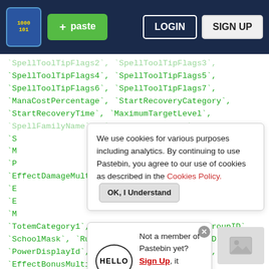Pastebin navigation bar with logo, paste button, login and sign up buttons
`SpellToolTipFlags2`, `SpellToolTipFlags3`,
`SpellToolTipFlags4`, `SpellToolTipFlags5`,
`SpellToolTipFlags6`, `SpellToolTipFlags7`,
`ManaCostPercentage`, `StartRecoveryCategory`,
`StartRecoveryTime`, `MaximumTargetLevel`,
`SpellFamilyName`, `SpellFamilyFlags`
`S`
`M`
`P`
`EffectDamageMultiplier1`,
`E`
`E`
`M`
`TotemCategory1`, `TotemCategory2`, `AreaGroupID`,
`SchoolMask`, `RuneCostID`, `SpellMissileID`,
`PowerDisplayId`, `EffectBonusMultiplier1`,
`EffectBonusMultiplier2`,
We use cookies for various purposes including analytics. By continuing to use Pastebin, you agree to our use of cookies as described in the Cookies Policy. OK, I Understand
Not a member of Pastebin yet? Sign Up, it unlocks many cool features!